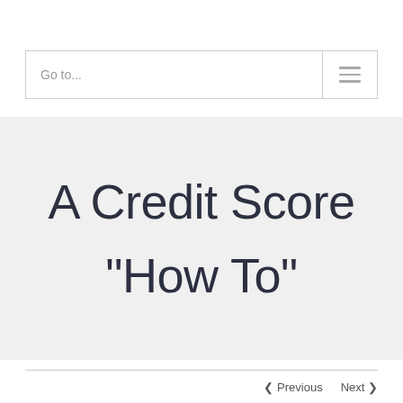Go to...
A Credit Score “How To”
< Previous   Next >